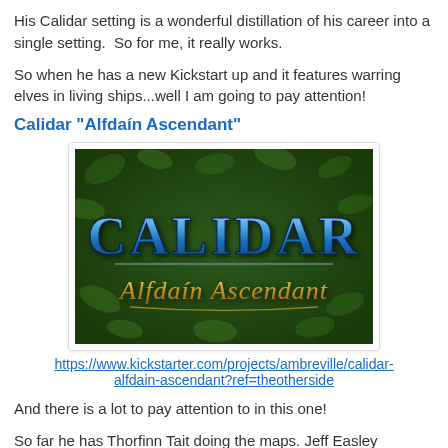His Calidar setting is a wonderful distillation of his career into a single setting.  So for me, it really works.
So when he has a new Kickstart up and it features warring elves in living ships...well I am going to pay attention!
Calidar "Alfdaín Ascendant"
[Figure (illustration): Logo image for Calidar Alfdaín Ascendant showing stylized text on a dark green leafy background. 'CALIDAR' in large blue metallic letters and 'Alfdaín Ascendant' in golden script beneath.]
https://www.kickstarter.com/projects/ambreville/calidar-alfdain-ascendant?ref=theotherside
And there is a lot to pay attention to in this one!
So far he has Thorfinn Tait doing the maps. Jeff Easley tentatively for the cover art. Joseph Garcia doing the internal